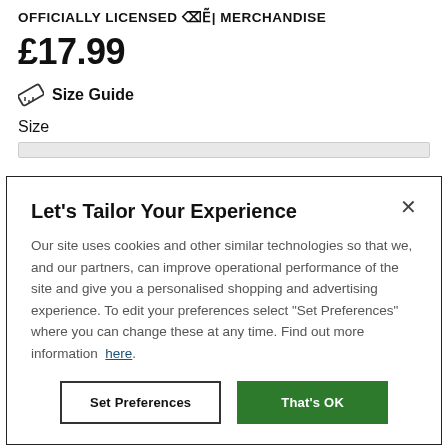OFFICIALLY LICENSED MERCHANDISE
£17.99
Size Guide
Size
Let's Tailor Your Experience
Our site uses cookies and other similar technologies so that we, and our partners, can improve operational performance of the site and give you a personalised shopping and advertising experience. To edit your preferences select "Set Preferences" where you can change these at any time. Find out more information here.
Set Preferences
That's OK